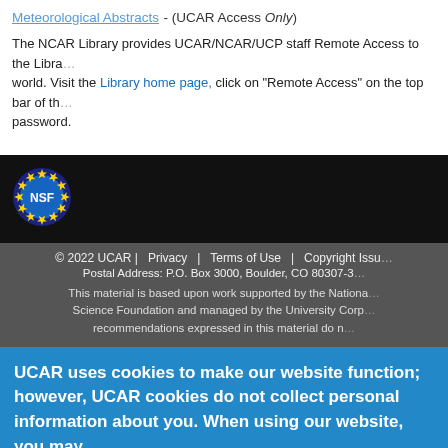Meteorological Abstracts (UCAR Access Only)
The NCAR Library provides UCAR/NCAR/UCP staff Remote Access to the Library's databases from anywhere in the world. Visit the Library home page, click on "Remote Access" on the top bar of the page, and enter your UCAR password.
[Figure (logo): NSF (National Science Foundation) circular logo badge with stars around the border]
© 2022 UCAR | Privacy | Terms of Use | Copyright Issues | Postal Address: P.O. Box 3000, Boulder, CO 80307-3000
This material is based upon work supported by the National Science Foundation and managed by the University Corporation for Atmospheric Research. Any opinions, findings and conclusions or recommendations expressed in this material do not necessarily reflect the views of the National Science Foundation.
UCAR uses cookies to make our website function; however, UCAR cookies do not collect personal information about you. When using our website, you may